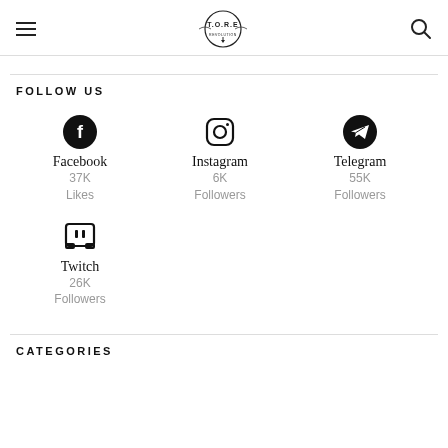T.O.R.E logo with hamburger menu and search icon
FOLLOW US
[Figure (infographic): Social media icons and follower counts: Facebook 37K Likes, Instagram 6K Followers, Telegram 55K Followers, Twitch 26K Followers]
CATEGORIES